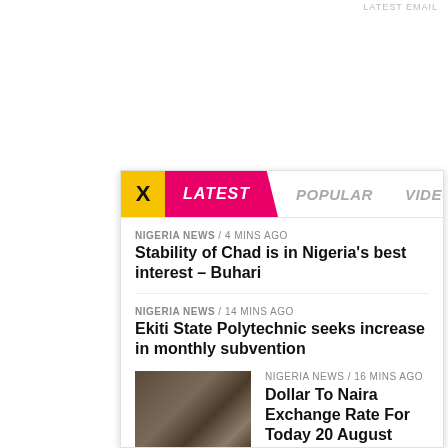LATEST EMAIL
X  LATEST  POPULAR  VIDEOS
NIGERIA NEWS / 4 mins ago
Stability of Chad is in Nigeria's best interest – Buhari
NIGERIA NEWS / 14 mins ago
Ekiti State Polytechnic seeks increase in monthly subvention
NIGERIA NEWS / 16 mins ago
Dollar To Naira Exchange Rate For Today 20 August 2022
[Figure (photo): Hands holding dollar bills and Nigerian naira currency]
NIGERIA NEWS / 37 mins ago
I'm here to promote prosperity of Erinmope-Ekiti – Oba Sunday Aniyi